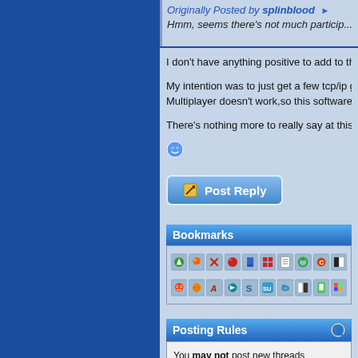Originally Posted by splinblood
Hmm, seems there's not much particip...
I don't have anything positive to add to this...
My intention was to just get a few tcp/ip ga... Multiplayer doesn't work,so this software a...
There's nothing more to really say at this p...
[Figure (screenshot): Post Reply button with pencil icon]
Bookmarks
[Figure (infographic): Two rows of social bookmarking service icons]
Posting Rules
You may not post new threads
You may not post replies
You may not post attachments
You may not edit your posts